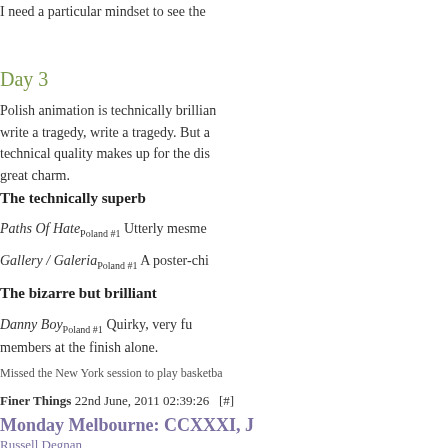I need a particular mindset to see the
Day 3
Polish animation is technically brilliant... write a tragedy, write a tragedy. But a technical quality makes up for the dis... great charm.
The technically superb
Paths Of HatePoland #1 Utterly mesme...
Gallery / GaleriaPoland #1 A poster-chi...
The bizarre but brilliant
Danny BoyPoland #1 Quirky, very fu... members at the finish alone.
Missed the New York session to play basketba...
Finer Things 22nd June, 2011 02:39:26   [#]
Monday Melbourne: CCXXXI, J
Russell Degnan
[Figure (photo): Small image placeholder showing a riverside/Yarra scene]
Colour by the Yarra. Taken June 2011
Melbourne Town 22nd June, 2011 01:29:12